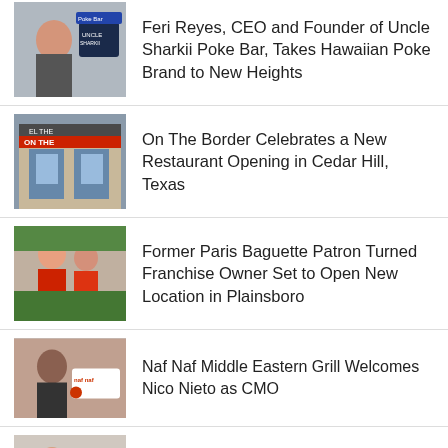Feri Reyes, CEO and Founder of Uncle Sharkii Poke Bar, Takes Hawaiian Poke Brand to New Heights
On The Border Celebrates a New Restaurant Opening in Cedar Hill, Texas
Former Paris Baguette Patron Turned Franchise Owner Set to Open New Location in Plainsboro
Naf Naf Middle Eastern Grill Welcomes Nico Nieto as CMO
Kitchen United Welcomes Katie Wollrich as CMO
Celebrate Back to School with Dickey's Barbecue Pit